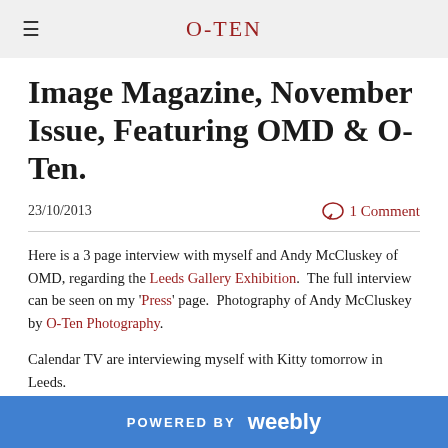O-TEN
Image Magazine, November Issue, Featuring OMD & O-Ten.
23/10/2013
1 Comment
Here is a 3 page interview with myself and Andy McCluskey of OMD, regarding the Leeds Gallery Exhibition.  The full interview can be seen on my 'Press' page.  Photography of Andy McCluskey by O-Ten Photography.
Calendar TV are interviewing myself with Kitty tomorrow in Leeds.
[Figure (screenshot): Thumbnail image showing 'image star interview' text with a small magazine image]
POWERED BY weebly